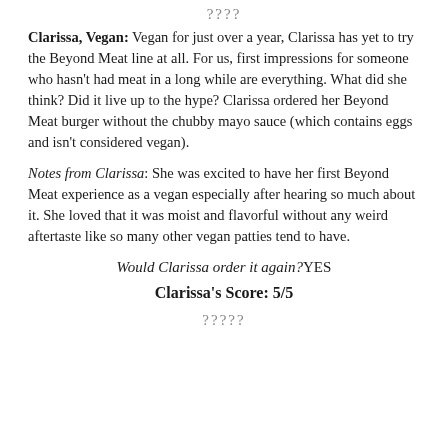????
Clarissa, Vegan: Vegan for just over a year, Clarissa has yet to try the Beyond Meat line at all. For us, first impressions for someone who hasn't had meat in a long while are everything. What did she think? Did it live up to the hype? Clarissa ordered her Beyond Meat burger without the chubby mayo sauce (which contains eggs and isn't considered vegan).
Notes from Clarissa: She was excited to have her first Beyond Meat experience as a vegan especially after hearing so much about it. She loved that it was moist and flavorful without any weird aftertaste like so many other vegan patties tend to have.
Would Clarissa order it again?YES
Clarissa's Score: 5/5
?????